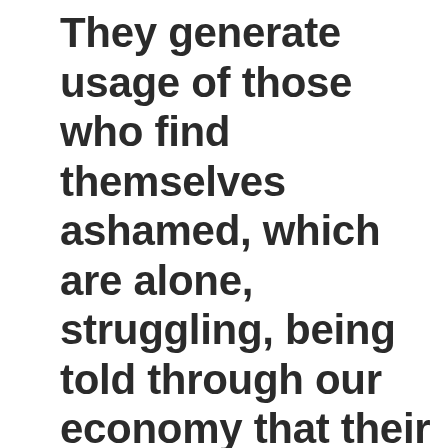They generate usage of those who find themselves ashamed, which are alone, struggling, being told through our economy that their work does not matter, that their nearest and dearest